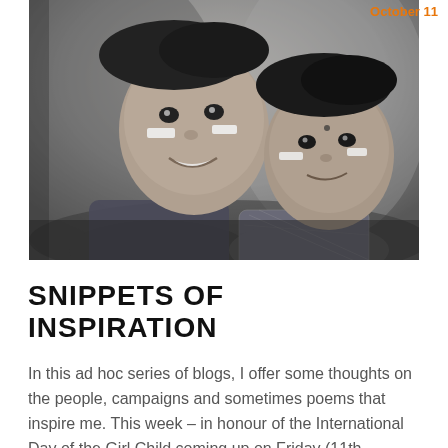October 11
[Figure (photo): Black and white photograph of two young South Asian girls smiling at the camera, with face paint marks on their cheeks]
SNIPPETS OF INSPIRATION
In this ad hoc series of blogs, I offer some thoughts on the people, campaigns and sometimes poems that inspire me. This week – in honour of the International Day of the Girl Child coming up on Friday (11th October) – I'd like to share with you